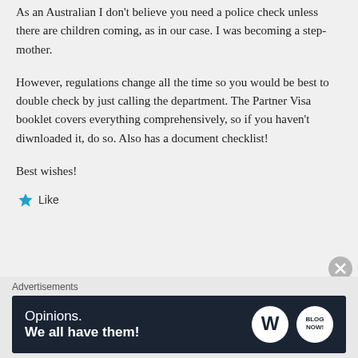As an Australian I don't believe you need a police check unless there are children coming, as in our case. I was becoming a step-mother.
However, regulations change all the time so you would be best to double check by just calling the department. The Partner Visa booklet covers everything comprehensively, so if you haven't diwnloaded it, do so. Also has a document checklist!
Best wishes!
Like
Advertisements
[Figure (other): Advertisement banner with dark navy background. Left side text: 'Opinions. We all have them!' Right side shows WordPress logo and Blog.com logo.]